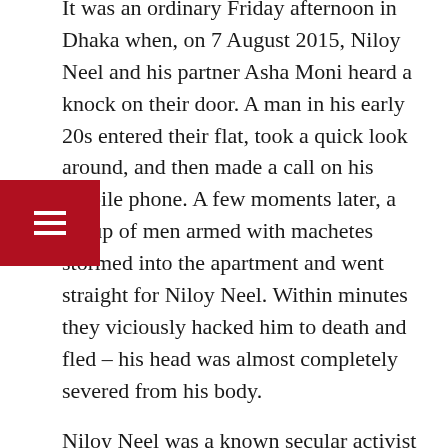It was an ordinary Friday afternoon in Dhaka when, on 7 August 2015, Niloy Neel and his partner Asha Moni heard a knock on their door. A man in his early 20s entered their flat, took a quick look around, and then made a call on his mobile phone. A few moments later, a group of men armed with machetes stormed into the apartment and went straight for Niloy Neel. Within minutes they viciously hacked him to death and fled – his head was almost completely severed from his body.
Niloy Neel was a known secular activist and blogger in Bangladesh who had written against religious extremism and in support of human rights on the atheist web platform, Mukto Mona